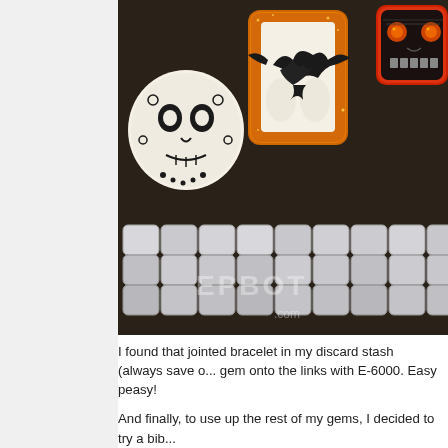[Figure (photo): Photo showing decorative snap charms/gems (skull designs and a raven/pumpkin design) on a dark surface, with a silver jointed/linked bracelet below them. A watermark reading 'EPBOT.com' is visible on the image.]
I found that jointed bracelet in my discard stash (always save o... gem onto the links with E-6000. Easy peasy!
And finally, to use up the rest of my gems, I decided to try a bib...